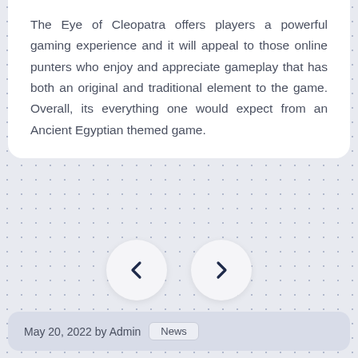The Eye of Cleopatra offers players a powerful gaming experience and it will appeal to those online punters who enjoy and appreciate gameplay that has both an original and traditional element to the game. Overall, its everything one would expect from an Ancient Egyptian themed game.
May 20, 2022 by Admin  News
[Figure (other): Navigation previous and next chevron buttons (left and right arrows) in circular white button containers on a dotted light blue-grey background]